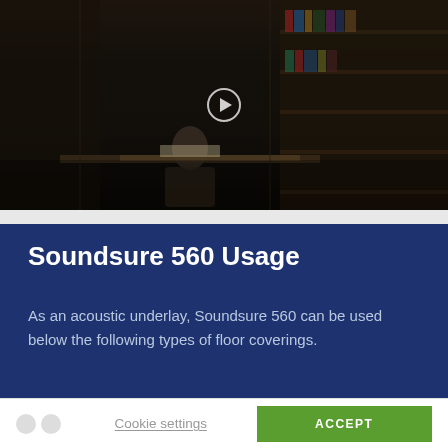[Figure (photo): Dark photo of a person sitting at a desk in a library-like interior, dimly lit with warm tones. A play button overlay is visible in the center.]
Soundsure 560 Usage
As an acoustic underlay, Soundsure 560 can be used below the following types of floor coverings.
We use cookies on our website to give you the most relevant experience by remembering your preferences and repeat visits. By clicking “Accept”, you consent to the use of ALL the cookies. However you may visit Cookie Settings to provide a controlled consent.